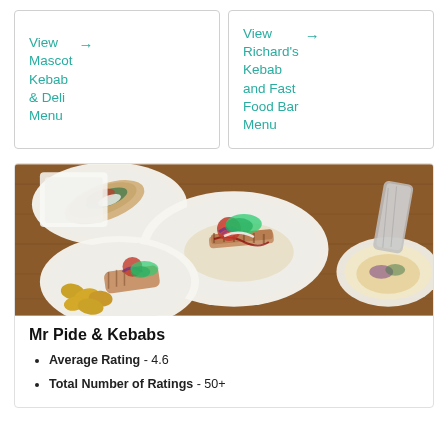View Mascot Kebab & Deli Menu →
View Richard's Kebab and Fast Food Bar Menu →
[Figure (photo): Overhead photo of multiple plates of kebab dishes including wraps, grilled meat platters, salads with tomato and onion, and fried items on white plates on a wooden table.]
Mr Pide & Kebabs
Average Rating - 4.6
Total Number of Ratings - 50+